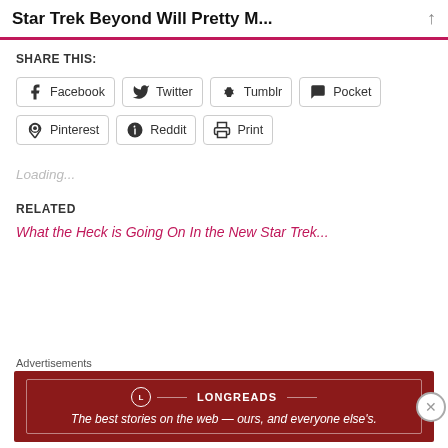Star Trek Beyond Will Pretty M...
SHARE THIS:
Facebook
Twitter
Tumblr
Pocket
Pinterest
Reddit
Print
Loading...
RELATED
What the Heck is Going On In the New Star Trek...
Advertisements
LONGREADS
The best stories on the web — ours, and everyone else's.